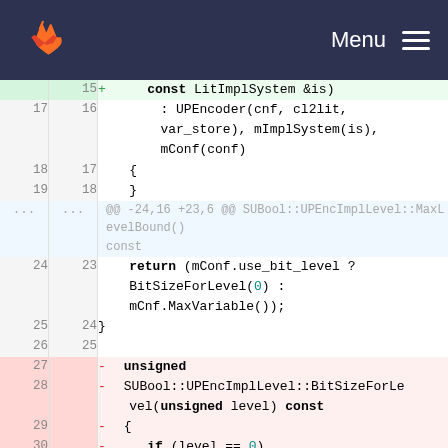GitLab Menu
[Figure (screenshot): GitLab code diff view showing changes to C++ source code. Lines 15-31 are shown with line numbers for old and new versions. Line 15 is added (green): '+ const LitImplSystem &is)'. Lines 16-18 show context of constructor initialization. Lines around 24-29 contain a hunk header and return statement. Lines 27-31 are removed (red): removing unsigned BitSizeForLevel function definition.]